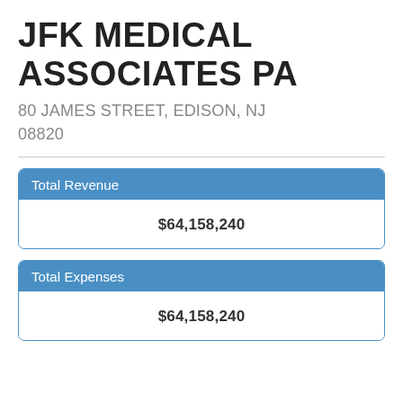JFK MEDICAL ASSOCIATES PA
80 JAMES STREET, EDISON, NJ 08820
| Total Revenue |
| --- |
| $64,158,240 |
| Total Expenses |
| --- |
| $64,158,240 |